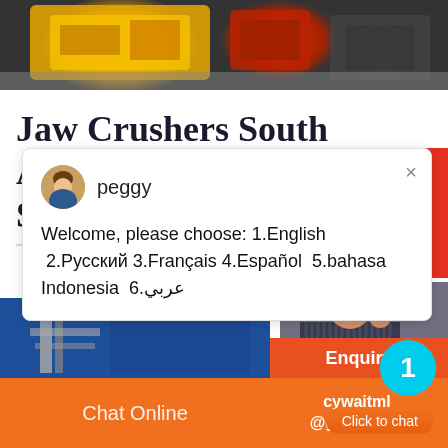[Figure (photo): Top image showing industrial machinery (jaw crusher) with yellow and red components on a grey floor.]
Jaw Crushers South Africa Second Hand- EXODUS
[Figure (screenshot): Chat popup from 'peggy' with avatar. Message: Welcome, please choose: 1.English 2.Русский 3.Français 4.Español 5.bahasa Indonesia 6.عربي. Close button (×) in top right.]
[Figure (photo): Right side panel showing a person in a striped shirt with a teal notification badge showing '1' and an orange 'Click to chat' button.]
Click to chat
Enquiry
[Figure (photo): Bottom left area showing blue background with industrial structure/tower.]
Chat Online
cywaitml
@gmail.com